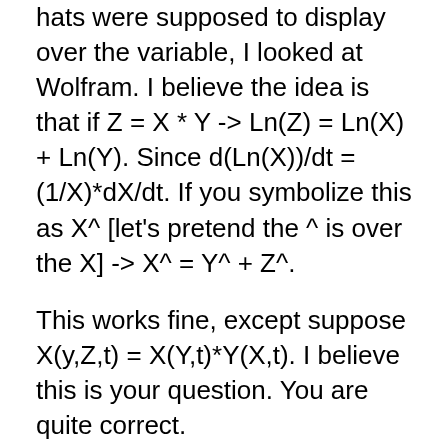hats were supposed to display over the variable, I looked at Wolfram. I believe the idea is that if Z = X * Y -> Ln(Z) = Ln(X) + Ln(Y). Since d(Ln(X))/dt = (1/X)*dX/dt. If you symbolize this as X^ [let's pretend the ^ is over the X] -> X^ = Y^ + Z^.
This works fine, except suppose X(y,Z,t) = X(Y,t)*Y(X,t). I believe this is your question. You are quite correct.
The underlying structure is a partial differential equation. NGDP(t) = RGDP(t) * P(t) is assumed to be a faithful (approximate) representation